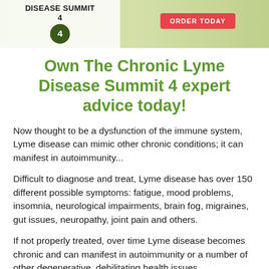[Figure (other): Chronic Lyme Disease Summit 4 banner with logo on white background left side, green nature background right side, and red ORDER TODAY button]
Own The Chronic Lyme Disease Summit 4 expert advice today!
Now thought to be a dysfunction of the immune system, Lyme disease can mimic other chronic conditions; it can manifest in autoimmunity...
Difficult to diagnose and treat, Lyme disease has over 150 different possible symptoms: fatigue, mood problems, insomnia, neurological impairments, brain fog, migraines, gut issues, neuropathy, joint pain and others.
If not properly treated, over time Lyme disease becomes chronic and can manifest in autoimmunity or a number of other degenerative, debilitating health issues.
Lyme disease can be a devastating (and sometimes hidden) condition, but it doesn't have to be!